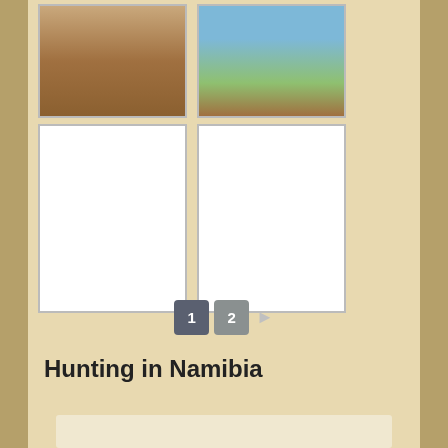[Figure (photo): Photo of group of people (Namibian tribal family) standing together outdoors]
[Figure (photo): Photo of a Namibian man with dreadlocks against blue sky and trees]
[Figure (photo): Blank/white photo placeholder (bottom left)]
[Figure (photo): Blank/white photo placeholder (bottom right)]
1  2  ►
Hunting in Namibia